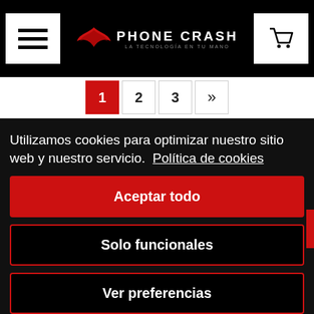Phone Crash - La tecnología en tu mano
1 2 3 »
Utilizamos cookies para optimizar nuestro sitio web y nuestro servicio.  Política de cookies
Aceptar todo
Solo funcionales
Ver preferencias